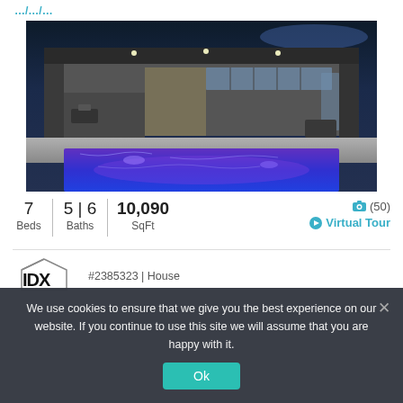[Figure (photo): Luxury modern home exterior at night showing illuminated swimming pool with purple lights, large windows, concrete structure, and outdoor patio area]
7 Beds | 5 | 6 Baths | 10,090 SqFt
(50) Virtual Tour
#2385323 | House
[Figure (logo): IDX logo in black and grey]
We use cookies to ensure that we give you the best experience on our website. If you continue to use this site we will assume that you are happy with it.